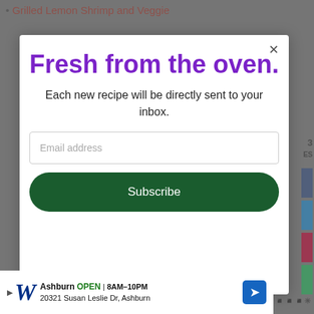Grilled Lemon Shrimp and Veggie
[Figure (screenshot): Modal popup overlay on a recipe website with title 'Fresh from the oven.', subtitle 'Each new recipe will be directly sent to your inbox.', an email address input field, and a Subscribe button. Background shows social share sidebar buttons and partial page content.]
Fresh from the oven.
Each new recipe will be directly sent to your inbox.
Email address
Subscribe
Ashburn OPEN | 8AM–10PM
20321 Susan Leslie Dr, Ashburn